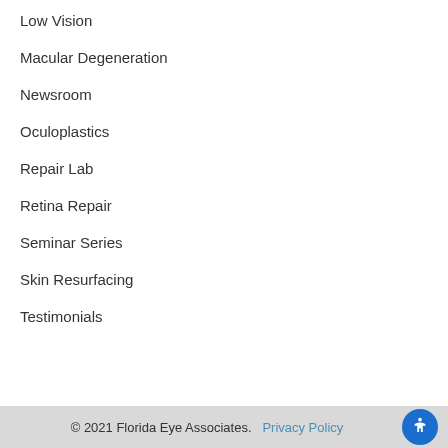Low Vision
Macular Degeneration
Newsroom
Oculoplastics
Repair Lab
Retina Repair
Seminar Series
Skin Resurfacing
Testimonials
© 2021 Florida Eye Associates.  Privacy Policy